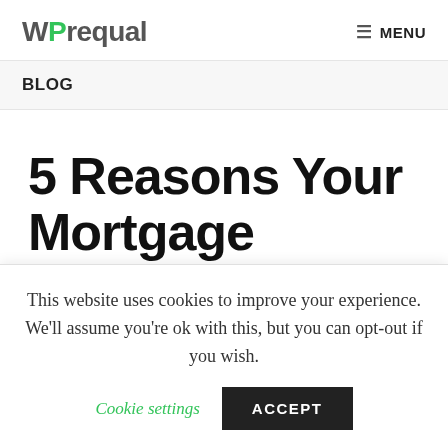WPrequal  MENU
BLOG
5 Reasons Your Mortgage Business Needs a Landing Page
This website uses cookies to improve your experience. We'll assume you're ok with this, but you can opt-out if you wish.
Cookie settings  ACCEPT